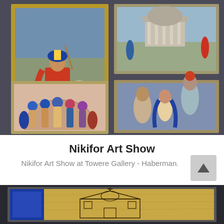[Figure (photo): Photo of a wall display showing multiple colorful paintings at the Nikifor Art Show. Top left: a large painting in a gold frame depicting a knight or saint on a white horse. Top right: a landscape painting with a building and figures. Middle right: a painting showing stylized religious figures (nativity/madonna scene). Bottom left: a painting showing a group of figures in an arched composition.]
Nikifor Art Show
Nikifor Art Show at Towere Gallery - Haberman.
[Figure (photo): Bottom portion of the page showing a dark-framed artwork on a wooden plank or board, with a blue insert visible on the left and a sketch of a church or religious building with a cross on it.]